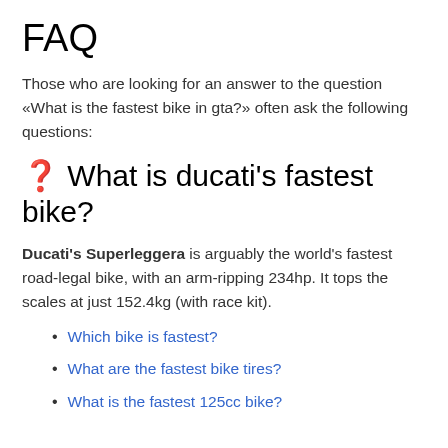FAQ
Those who are looking for an answer to the question «What is the fastest bike in gta?» often ask the following questions:
❓ What is ducati's fastest bike?
Ducati's Superleggera is arguably the world's fastest road-legal bike, with an arm-ripping 234hp. It tops the scales at just 152.4kg (with race kit).
Which bike is fastest?
What are the fastest bike tires?
What is the fastest 125cc bike?